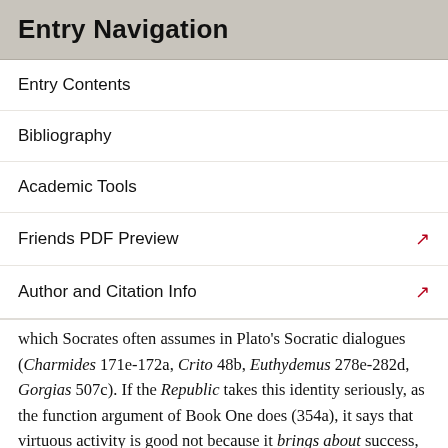Entry Navigation
Entry Contents
Bibliography
Academic Tools
Friends PDF Preview
Author and Citation Info
which Socrates often assumes in Plato's Socratic dialogues (Charmides 171e-172a, Crito 48b, Euthydemus 278e-282d, Gorgias 507c). If the Republic takes this identity seriously, as the function argument of Book One does (354a), it says that virtuous activity is good not because it brings about success, but because it is success. This is the explicit view of Aristotle and the Stoics, who had considered Plato's work carefully.
Metaethically, the Republic presupposes that there are objective facts concerning how one should live. Much of its account of these facts sounds naturalist. After all,